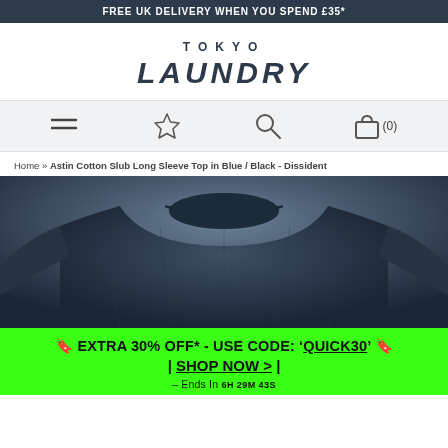FREE UK DELIVERY WHEN YOU SPEND £35*
[Figure (logo): Tokyo Laundry brand logo with stylized italic text]
[Figure (infographic): Navigation bar with hamburger menu, star/wishlist icon, search icon, and shopping bag icon with (0) cart count]
Home » Astin Cotton Slub Long Sleeve Top in Blue / Black - Dissident
[Figure (photo): Product photo of navy blue long sleeve cotton slub top showing torso/collar area on white background]
🔖 EXTRA 30% OFF* - USE CODE: 'QUICK30' 🔖
| SHOP NOW > |
– Ends In 6H 29M 43S